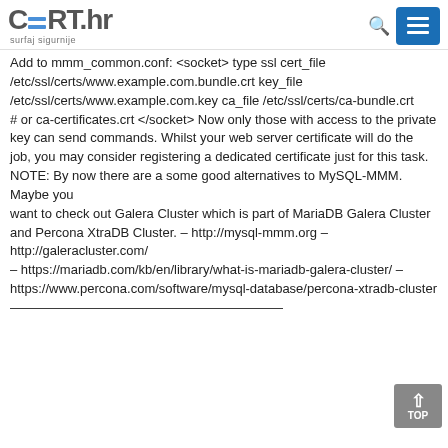CERT.hr surfaj sigurnije
Add to mmm_common.conf: <socket> type ssl cert_file /etc/ssl/certs/www.example.com.bundle.crt key_file /etc/ssl/certs/www.example.com.key ca_file /etc/ssl/certs/ca-bundle.crt
# or ca-certificates.crt </socket> Now only those with access to the private key can send commands. Whilst your web server certificate will do the
job, you may consider registering a dedicated certificate just for this task.
NOTE: By now there are a some good alternatives to MySQL-MMM. Maybe you
want to check out Galera Cluster which is part of MariaDB Galera Cluster and Percona XtraDB Cluster. – http://mysql-mmm.org – http://galeracluster.com/
– https://mariadb.com/kb/en/library/what-is-mariadb-galera-cluster/ – https://www.percona.com/software/mysql-database/percona-xtradb-cluster
———————————————————